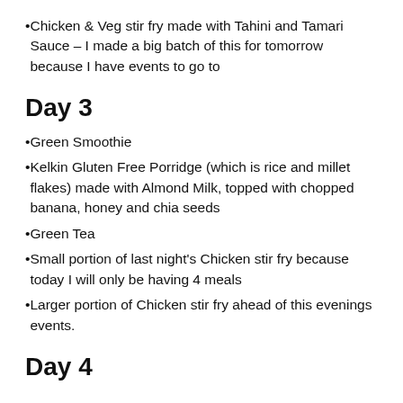Chicken & Veg stir fry made with Tahini and Tamari Sauce – I made a big batch of this for tomorrow because I have events to go to
Day 3
Green Smoothie
Kelkin Gluten Free Porridge (which is rice and millet flakes) made with Almond Milk, topped with chopped banana, honey and chia seeds
Green Tea
Small portion of last night's Chicken stir fry because today I will only be having 4 meals
Larger portion of Chicken stir fry ahead of this evenings events.
Day 4